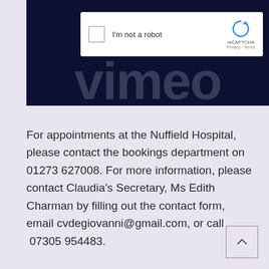[Figure (screenshot): Dark navy Vimeo video embed banner with 'vimeo' text in large white letters, overlaid with a Google reCAPTCHA 'I'm not a robot' checkbox widget]
For appointments at the Nuffield Hospital, please contact the bookings department on 01273 627008. For more information, please contact Claudia's Secretary, Ms Edith Charman by filling out the contact form, email cvdegiovanni@gmail.com, or call  07305 954483.